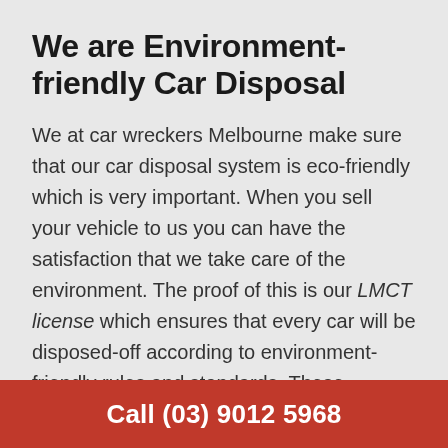We are Environment-friendly Car Disposal
We at car wreckers Melbourne make sure that our car disposal system is eco-friendly which is very important. When you sell your vehicle to us you can have the satisfaction that we take care of the environment. The proof of this is our LMCT license which ensures that every car will be disposed-off according to environment-friendly rules and standards. These standards are set up by the government and environment
Call (03) 9012 5968